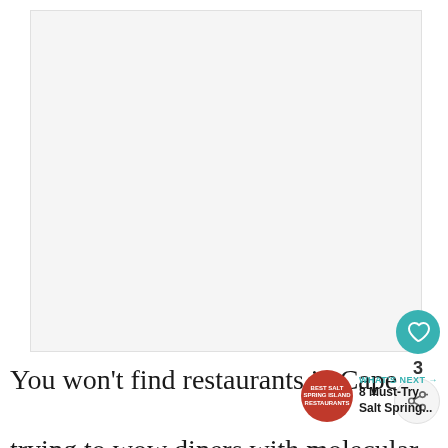[Figure (photo): Large image area showing a light gray/white placeholder for a food or restaurant photo]
You won't find restaurants in Cape trying to wow diners with molecular
WHAT'S NEXT → 8 Must-Try Salt Spring...